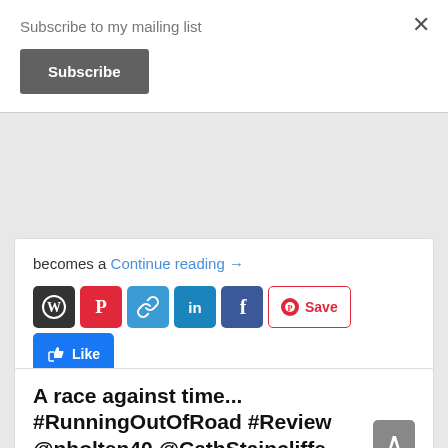Subscribe to my mailing list
Subscribe
becomes a Continue reading →
[Figure (screenshot): Row of social media sharing icons: WordPress, Pinterest, Copy Link, LinkedIn, Facebook, Pinterest Save button, Facebook Like button, and a blue plus button]
Posted in Book Reviews | Tagged #Crime, #Crime #Twists #Murder, #CrimeFiction, #Emotive, #Gritty, #Psychological, #Suspense, #Thriller, #Twists, #ViperBooks
A race against time... #RunningOutOfRoad #Review @nholten40 @CathStaincliffe